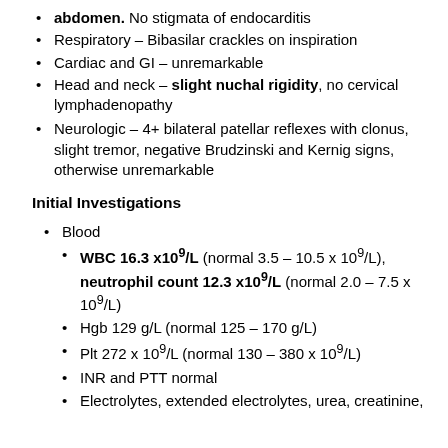abdomen. No stigmata of endocarditis
Respiratory – Bibasilar crackles on inspiration
Cardiac and GI – unremarkable
Head and neck – slight nuchal rigidity, no cervical lymphadenopathy
Neurologic – 4+ bilateral patellar reflexes with clonus, slight tremor, negative Brudzinski and Kernig signs, otherwise unremarkable
Initial Investigations
Blood
WBC 16.3 x10^9/L (normal 3.5 – 10.5 x 10^9/L), neutrophil count 12.3 x10^9/L (normal 2.0 – 7.5 x 10^9/L)
Hgb 129 g/L (normal 125 – 170 g/L)
Plt 272 x 10^9/L (normal 130 – 380 x 10^9/L)
INR and PTT normal
Electrolytes, extended electrolytes, urea, creatinine,